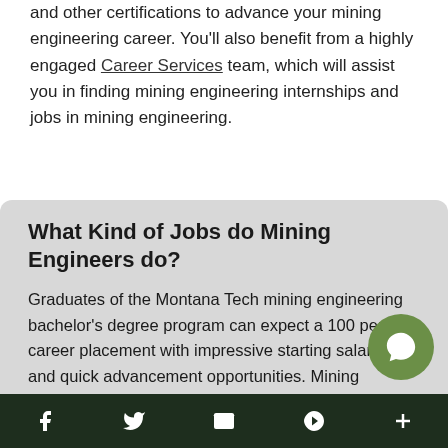and other certifications to advance your mining engineering career. You'll also benefit from a highly engaged Career Services team, which will assist you in finding mining engineering internships and jobs in mining engineering.
What Kind of Jobs do Mining Engineers do?
Graduates of the Montana Tech mining engineering bachelor's degree program can expect a 100 percent career placement with impressive starting salaries and quick advancement opportunities. Mining engineering graduates pursue careers in coal mining, hard rock mining, open put and underground construction
f  twitter  email  p  +